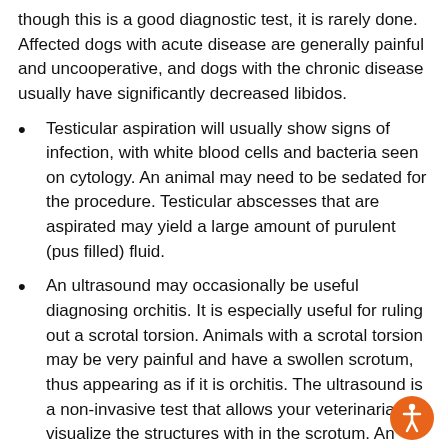though this is a good diagnostic test, it is rarely done. Affected dogs with acute disease are generally painful and uncooperative, and dogs with the chronic disease usually have significantly decreased libidos.
Testicular aspiration will usually show signs of infection, with white blood cells and bacteria seen on cytology. An animal may need to be sedated for the procedure. Testicular abscesses that are aspirated may yield a large amount of purulent (pus filled) fluid.
An ultrasound may occasionally be useful diagnosing orchitis. It is especially useful for ruling out a scrotal torsion. Animals with a scrotal torsion may be very painful and have a swollen scrotum, thus appearing as if it is orchitis. The ultrasound is a non-invasive test that allows your veterinarian to visualize the structures with in the scrotum. An ultrasound is also used to distinguish between testicular tumors, abscesses and hernias.